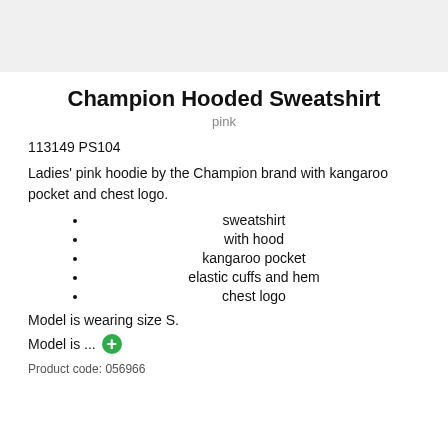Champion Hooded Sweatshirt
pink
113149 PS104
Ladies' pink hoodie by the Champion brand with kangaroo pocket and chest logo.
sweatshirt
with hood
kangaroo pocket
elastic cuffs and hem
chest logo
Model is wearing size S.
Model is ...
Product code: 056966